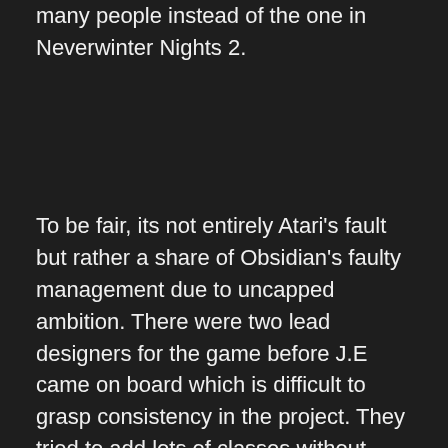many people instead of the one in Neverwinter Nights 2.
To be fair, its not entirely Atari's fault but rather a share of Obsidian's faulty management due to uncapped ambition. There were two lead designers for the game before J.E came on board which is difficult to grasp consistency in the project. They tried to add lots of classes without fixing the old ones first since they were given old Aurora build. The stripping and recreation of the graphics engine that still runs slowly for today's standard. The game was delayed for additional six months remember? Anyway.